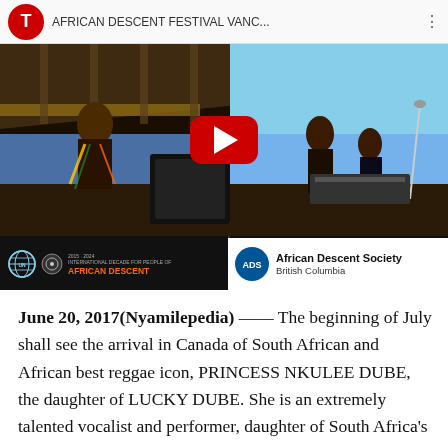[Figure (screenshot): YouTube video thumbnail showing African Descent Festival Vancouver performance with reggae musicians on stage. Video bar shows title 'AFRICAN DESCENT FESTIVAL VANC...' with red YouTube icon. Bottom banners show FACTOR logo, British Columbia logo, UN International Decade for People of African Descent logo, and African Descent Society British Columbia logo. A red YouTube play button is centered on the video.]
June 20, 2017(Nyamilepedia) —— The beginning of July shall see the arrival in Canada of South African and African best reggae icon, PRINCESS NKULEE DUBE, the daughter of LUCKY DUBE. She is an extremely talented vocalist and performer, daughter of South Africa's premier